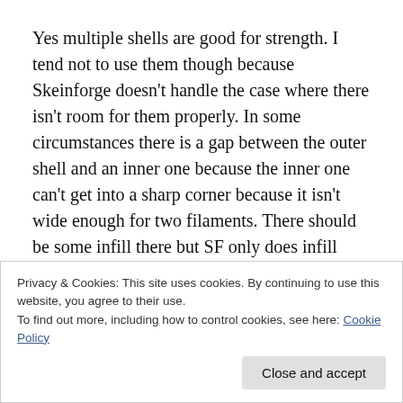Yes multiple shells are good for strength. I tend not to use them though because Skeinforge doesn't handle the case where there isn't room for them properly. In some circumstances there is a gap between the outer shell and an inner one because the inner one can't get into a sharp corner because it isn't wide enough for two filaments. There should be some infill there but SF only does infill inside the inner shell. On the plus side SF joins the ends of the infill to make a second shell for free, which the other slicers don't, see
Privacy & Cookies: This site uses cookies. By continuing to use this website, you agree to their use.
To find out more, including how to control cookies, see here: Cookie Policy
Close and accept